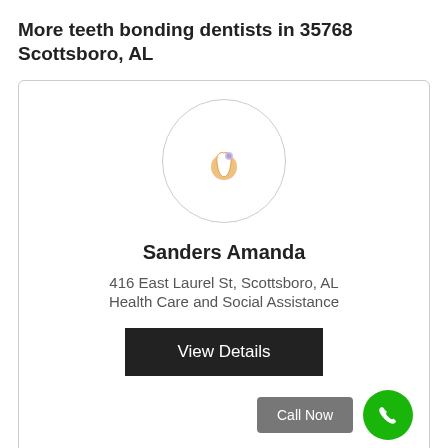More teeth bonding dentists in 35768 Scottsboro, AL
[Figure (illustration): Circular avatar placeholder with a tooth/bonding icon in orange color on white background]
Sanders Amanda
416 East Laurel St, Scottsboro, AL
Health Care and Social Assistance
View Details
Call Now